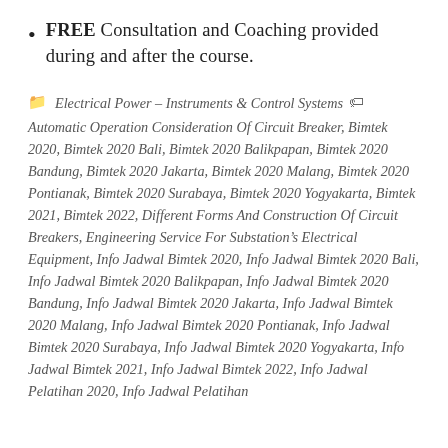FREE Consultation and Coaching provided during and after the course.
Electrical Power – Instruments & Control Systems Automatic Operation Consideration Of Circuit Breaker, Bimtek 2020, Bimtek 2020 Bali, Bimtek 2020 Balikpapan, Bimtek 2020 Bandung, Bimtek 2020 Jakarta, Bimtek 2020 Malang, Bimtek 2020 Pontianak, Bimtek 2020 Surabaya, Bimtek 2020 Yogyakarta, Bimtek 2021, Bimtek 2022, Different Forms And Construction Of Circuit Breakers, Engineering Service For Substation's Electrical Equipment, Info Jadwal Bimtek 2020, Info Jadwal Bimtek 2020 Bali, Info Jadwal Bimtek 2020 Balikpapan, Info Jadwal Bimtek 2020 Bandung, Info Jadwal Bimtek 2020 Jakarta, Info Jadwal Bimtek 2020 Malang, Info Jadwal Bimtek 2020 Pontianak, Info Jadwal Bimtek 2020 Surabaya, Info Jadwal Bimtek 2020 Yogyakarta, Info Jadwal Bimtek 2021, Info Jadwal Bimtek 2022, Info Jadwal Pelatihan 2020, Info Jadwal Pelatihan